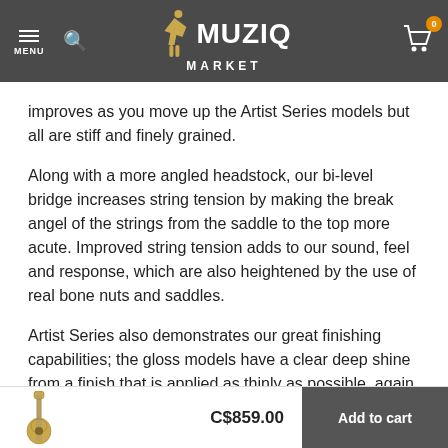MUZIQ MARKET
improves as you move up the Artist Series models but all are stiff and finely grained.
Along with a more angled headstock, our bi-level bridge increases string tension by making the break angel of the strings from the saddle to the top more acute. Improved string tension adds to our sound, feel and response, which are also heightened by the use of real bone nuts and saddles.
Artist Series also demonstrates our great finishing capabilities; the gloss models have a clear deep shine from a finish that is applied as thinly as possible, again to help optimize tone.
C$859.00  Add to cart